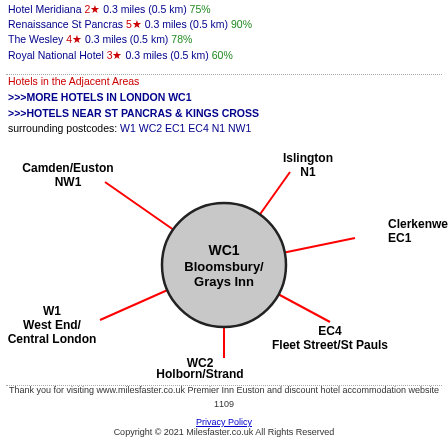Hotel Meridiana 2★ 0.3 miles (0.5 km) 75%
Renaissance St Pancras 5★ 0.3 miles (0.5 km) 90%
The Wesley 4★ 0.3 miles (0.5 km) 78%
Royal National Hotel 3★ 0.3 miles (0.5 km) 60%
Hotels in the Adjacent Areas
>>>MORE HOTELS IN LONDON WC1
>>>HOTELS NEAR ST PANCRAS & KINGS CROSS
surrounding postcodes: W1 WC2 EC1 EC4 N1 NW1
[Figure (map): Radial map showing WC1 Bloomsbury/Grays Inn at center with surrounding London areas: Camden/Euston NW1, Islington N1, Clerkenwell EC1, EC4 Fleet Street/St Pauls, WC2 Holborn/Strand, W1 West End/Central London connected by red lines]
Thank you for visiting www.milesfaster.co.uk Premier Inn Euston and discount hotel accommodation website
1109

Privacy Policy
Copyright © 2021 Milesfaster.co.uk All Rights Reserved